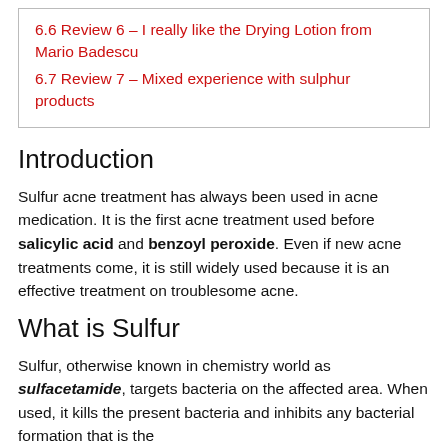6.6 Review 6 – I really like the Drying Lotion from Mario Badescu
6.7 Review 7 – Mixed experience with sulphur products
Introduction
Sulfur acne treatment has always been used in acne medication. It is the first acne treatment used before salicylic acid and benzoyl peroxide. Even if new acne treatments come, it is still widely used because it is an effective treatment on troublesome acne.
What is Sulfur
Sulfur, otherwise known in chemistry world as sulfacetamide, targets bacteria on the affected area. When used, it kills the present bacteria and inhibits any bacterial formation that is the